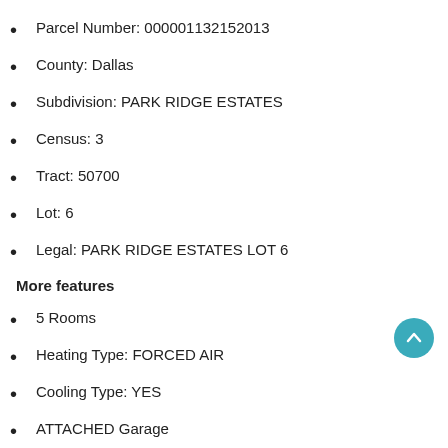Parcel Number: 000001132152013
County: Dallas
Subdivision: PARK RIDGE ESTATES
Census: 3
Tract: 50700
Lot: 6
Legal: PARK RIDGE ESTATES LOT 6
More features
5 Rooms
Heating Type: FORCED AIR
Cooling Type: YES
ATTACHED Garage